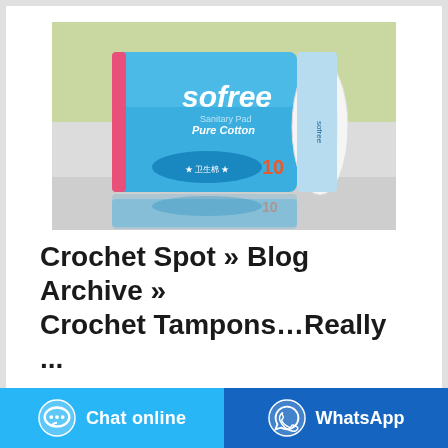[Figure (photo): A blue package of Sofree Sanitary Pad Pure Cotton (10 pads) shown standing upright on a reflective surface with a green background, along with its reflection below.]
Crochet Spot » Blog Archive » Crochet Tampons…Really ...
Chat online
WhatsApp